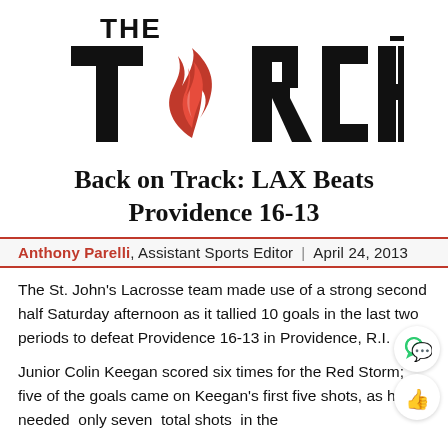[Figure (logo): The Torch newspaper logo: bold black text 'THE TORCH' with a red flame replacing the letter O]
Back on Track: LAX Beats Providence 16-13
Anthony Parelli, Assistant Sports Editor | April 24, 2013
The St. John's Lacrosse team made use of a strong second half Saturday afternoon as it tallied 10 goals in the last two periods to defeat Providence 16-13 in Providence, R.I.
Junior Colin Keegan scored six times for the Red Storm; five of the goals came on Keegan's first five shots, as he needed  only seven  total shots  in the